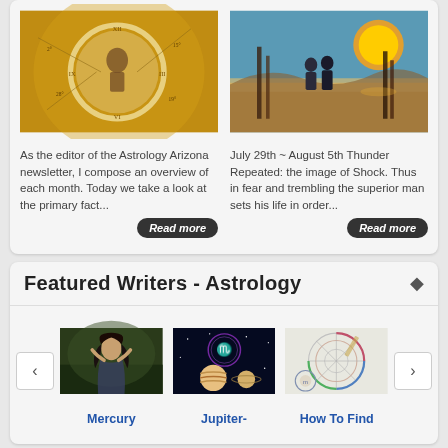[Figure (photo): Astrology chart with clock overlay, golden brown tones]
As the editor of the Astrology Arizona newsletter, I compose an overview of each month. Today we take a look at the primary fact...
Read more
[Figure (photo): Artistic illustration of figures standing near a pillar with sun and landscape]
July 29th ~ August 5th Thunder Repeated: the image of Shock. Thus in fear and trembling the superior man sets his life in order...
Read more
Featured Writers - Astrology
[Figure (photo): Classical painting of a woman with flowing dark hair and dress]
[Figure (photo): Space themed image with Jupiter and Saturn and astrology symbol]
[Figure (photo): Astrology chart / wheel with compass]
Mercury
Jupiter-
How To Find